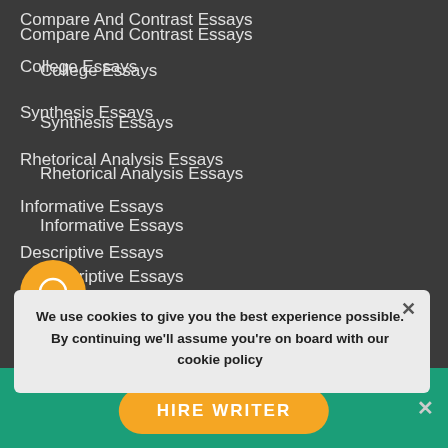Compare And Contrast Essays
College Essays
Synthesis Essays
Rhetorical Analysis Essays
Informative Essays
Descriptive Essays
Personal Essays
Literary Analysis Essays
Analysis Essays
Reflective Essays
Cause And Effect Essays
We use cookies to give you the best experience possible. By continuing we'll assume you're on board with our cookie policy
HIRE WRITER